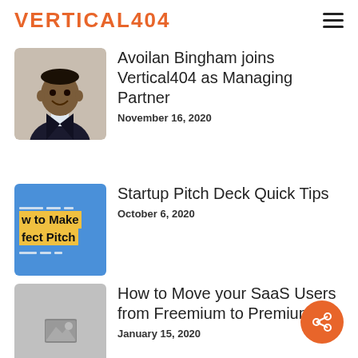VERTICAL404
[Figure (photo): Headshot of Avoilan Bingham, a man in a dark blazer, smiling]
Avoilan Bingham joins Vertical404 as Managing Partner
November 16, 2020
[Figure (screenshot): Thumbnail for 'How to Make the Perfect Pitch' on a blue background with yellow highlighted text]
Startup Pitch Deck Quick Tips
October 6, 2020
[Figure (photo): Grey placeholder image thumbnail]
How to Move your SaaS Users from Freemium to Premium
January 15, 2020